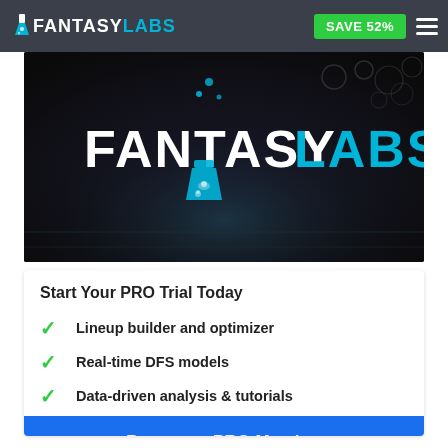FANTASY LABS — SAVE 52%
[Figure (logo): FantasyLabs hero banner with stadium background and large FantasyLabs logo in white and cyan text with blue flask icon]
Start Your PRO Trial Today
Lineup builder and optimizer
Real-time DFS models
Data-driven analysis & tutorials
Become a PRO Member